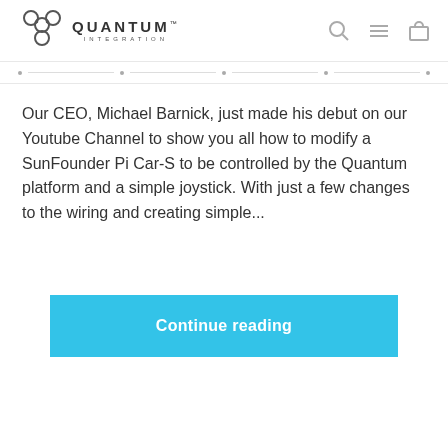QUANTUM INTEGRATION
Our CEO, Michael Barnick, just made his debut on our Youtube Channel to show you all how to modify a SunFounder Pi Car-S to be controlled by the Quantum platform and a simple joystick. With just a few changes to the wiring and creating simple...
Continue reading